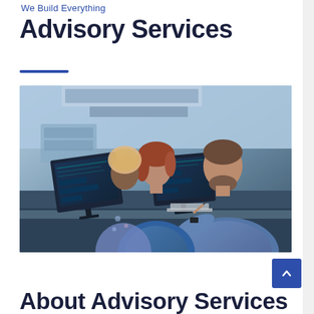We Build Everything
Advisory Services
[Figure (photo): Three professionals (two women and one bearded man in a blue sweater) gathered around computer monitors in a tech workspace, collaborating and looking at screens]
About Advisory Services